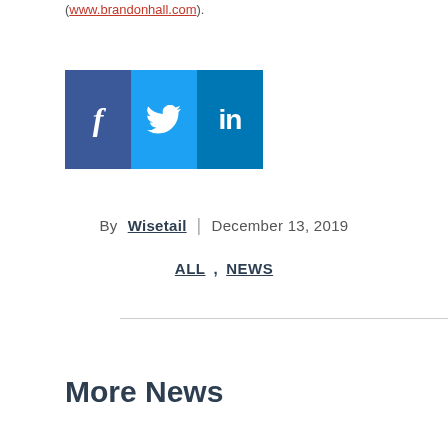(www.brandonhall.com).
[Figure (infographic): Social media share buttons: Facebook (blue), Twitter (light blue), LinkedIn (dark blue)]
By Wisetail | December 13, 2019
ALL, NEWS
More News